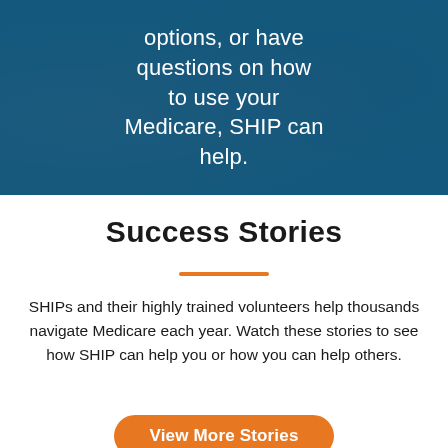options, or have questions on how to use your Medicare, SHIP can help.
Success Stories
SHIPs and their highly trained volunteers help thousands navigate Medicare each year. Watch these stories to see how SHIP can help you or how you can help others.
View More Stories